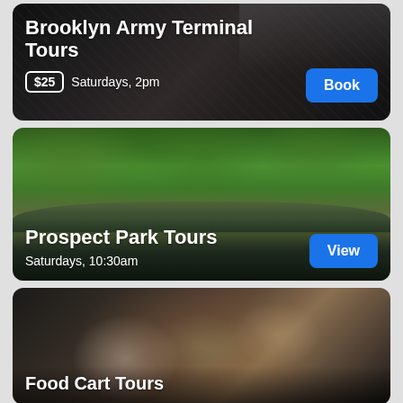[Figure (screenshot): Card 1: Brooklyn Army Terminal Tours - dark industrial interior with glass ceiling, showing price $25, Saturdays 2pm, and Book button]
Brooklyn Army Terminal Tours
$25  Saturdays, 2pm
[Figure (screenshot): Card 2: Prospect Park Tours - lush green park with bridge over water, showing Saturdays 10:30am and View button]
Prospect Park Tours
Saturdays, 10:30am
[Figure (screenshot): Card 3: Food Cart Tours - close-up photo of a burrito being held, with partial title visible at bottom]
Food Cart Tours